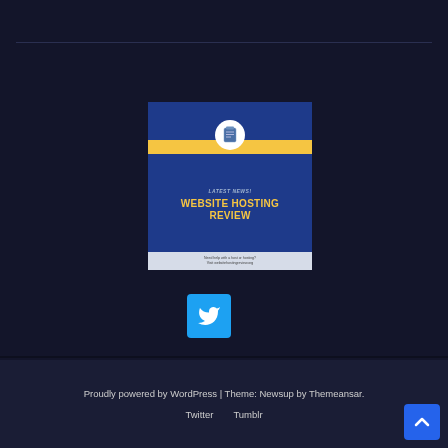[Figure (illustration): Website hosting review promotional card with dark blue background, yellow accent bar, clipboard icon, 'LATEST NEWS!' subtitle, 'WEBSITE HOSTING REVIEW' title in yellow bold text, and a light blue footer with small text about hosting help.]
[Figure (logo): Twitter bird icon button in cyan/blue square background]
Proudly powered by WordPress | Theme: Newsup by Themeansar.
Twitter   Tumblr